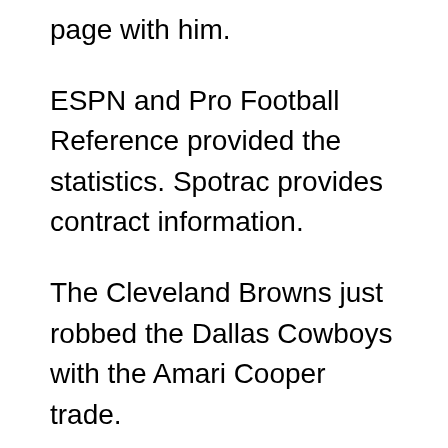page with him.
ESPN and Pro Football Reference provided the statistics. Spotrac provides contract information.
The Cleveland Browns just robbed the Dallas Cowboys with the Amari Cooper trade.
The “odell beckham sr” is a situation that Baker Mayfield must avoid with Amari Cooper. The two players are in the same division, and it would be best for both if they did not have any personal conflicts.